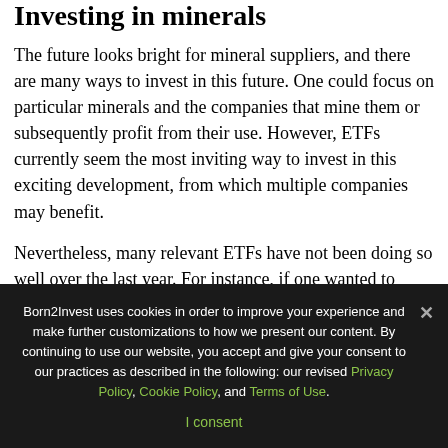Investing in minerals
The future looks bright for mineral suppliers, and there are many ways to invest in this future. One could focus on particular minerals and the companies that mine them or subsequently profit from their use. However, ETFs currently seem the most inviting way to invest in this exciting development, from which multiple companies may benefit.
Nevertheless, many relevant ETFs have not been doing so well over the last year. For instance, if one wanted to focus on lithium, one could invest in the Global X Lithium & Battery Tech ETF (NYSE:LIT) . This ETF gives one exposure across the “full lithium cycle from mining and refining
Born2Invest uses cookies in order to improve your experience and make further customizations to how we present our content. By continuing to use our website, you accept and give your consent to our practices as described in the following: our revised Privacy Policy, Cookie Policy, and Terms of Use.
I consent